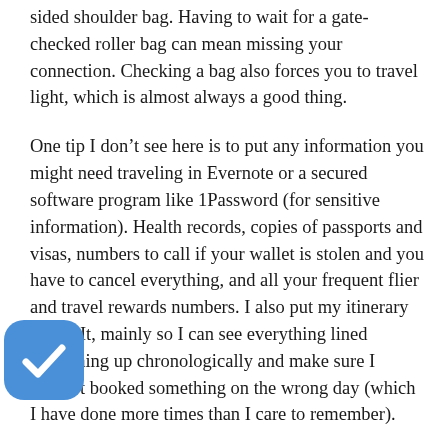sided shoulder bag. Having to wait for a gate-checked roller bag can mean missing your connection. Checking a bag also forces you to travel light, which is almost always a good thing.
One tip I don’t see here is to put any information you might need traveling in Evernote or a secured software program like 1Password (for sensitive information). Health records, copies of passports and visas, numbers to call if your wallet is stolen and you have to cancel everything, and all your frequent flier and travel rewards numbers. I also put my itinerary in TripIt, mainly so I can see everything lined everything up chronologically and make sure I haven’t booked something on the wrong day (which I have done more times than I care to remember).
Another rule I live by that has become increasingly important as the skies become every more crowded, is to never fly on the day …ave to be somewhere. If you have a meeting somewhere …nvolves air travel, always fly in a day early as flight delays and cancellations have become all too common.